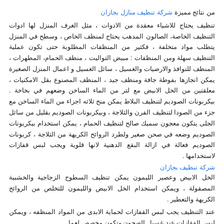من نتائج مميزة شركة تنظيف منازل بجازان
تنظيف يحتاج للاشياء معقدة من الادوات ، مثل الغرف المنزل لها ادوات التنظيف الخاصة، الصالون المدهب يحتاج لمنظف الخاص ، وسطح في المنزل يتطلب مواد متخلفة ، فكثير من المنظفات المطلوبة حتى تكون عملية التنظيف سهلة ومن المنظفات : مبيض التواليت ، منظف الحمام، المطهرات ، المنظف للنوافذ والارضيات والغسيل ، سائل الغسيل و اعمال المنزل الصغيرة يمكن انجازها بفوطة جافة ومنظف جيد ، المنظف المصنوع بقل الامكنيات ، معلقتين من الخل الابيض مع لتر من الماء الساخن وضعهم في بخاخة . بيكربونات الصوديم لتنظيف البلاط يمكن منح ثلاثه اجزاء من الماء الساخن مع جزء من الصودا لتنظيف الفرن والثلاجة ، وبيكربونات الصوديم بقليل من سائل الجلى يتكون معجون سميك صالح لتنظيف الحمام ، يمكن استخدام بيكربونات الصوديم وضعه في صحن صغير ولطرد الروائح الكريهة من الثلاجة ، كربونات الصوديم فعالة في ازالة البقع الدهنية لانها قلوية ويجب لبس قفازات لاستخدامها .
شركة تنظيف بجازان
الخل الابيض وعصير الليمون يمكن تنظيف السطوح الزجاجية والخشبية المصقولة ، ويمكن استخدام الخل الابيض والليمون للتخلص من الروائح الكريهة والتعطير .
عند التنظيف يجب لبس القفازات لحماية الابدى من المواد المنظفه ، ويمكن لبس الفقازات عند غسيل الصحون وتكون مخصص لعمل